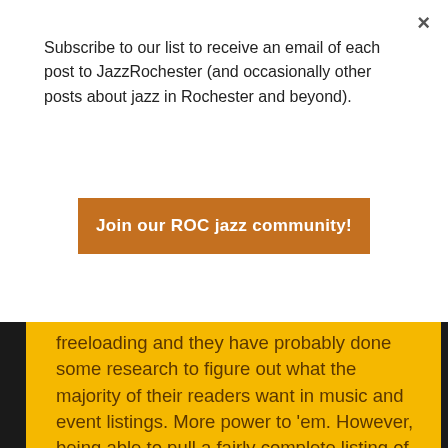×
Subscribe to our list to receive an email of each post to JazzRochester (and occasionally other posts about jazz in Rochester and beyond).
Join our ROC jazz community!
freeloading and they have probably done some research to figure out what the majority of their readers want in music and event listings.  More power to 'em.  However, being able to pull a fairly complete listing of jazz gigs around town, organized by day and present them in these pages with minimal recoding made it possible for me to do those posts.  As I have stated before, this blog is mostly a hobby (although I also doing blog consulting as part of the business I am building with my